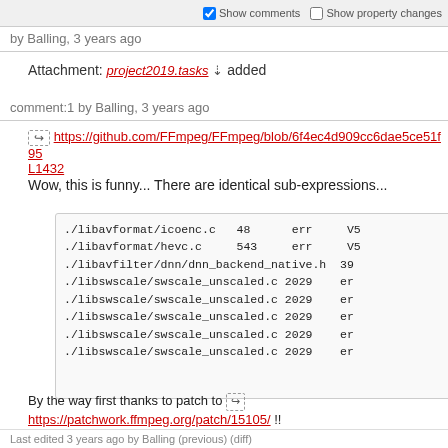Show comments  Show property changes
by Balling, 3 years ago
Attachment: project2019.tasks ↓ added
comment:1 by Balling, 3 years ago
https://github.com/FFmpeg/FFmpeg/blob/6f4ec4d909cc6dae5ce51f95L1432
Wow, this is funny... There are identical sub-expressions...
./libavformat/icoenc.c   48      err     V5
./libavformat/hevc.c     543     err     V5
./libavfilter/dnn/dnn_backend_native.h  39
./libswscale/swscale_unscaled.c 2029    er
./libswscale/swscale_unscaled.c 2029    er
./libswscale/swscale_unscaled.c 2029    er
./libswscale/swscale_unscaled.c 2029    er
./libswscale/swscale_unscaled.c 2029    er
By the way first thanks to patch to https://patchwork.ffmpeg.org/patch/15105/ !!
And this one https://github.com/FFmpeg/FFmpeg/commit/7a7aa4f79e506eff8bddb9
Ah yes I should've said I compiled against 77937a42e7127271bd50d7f8035c3ebd5a1047c5
Last edited 3 years ago by Balling (previous) (diff)